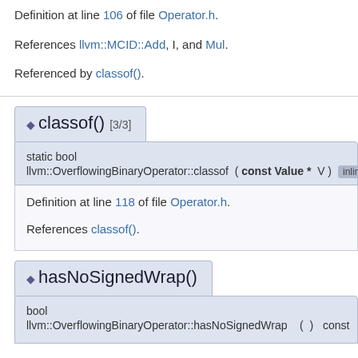Definition at line 106 of file Operator.h.
References llvm::MCID::Add, I, and Mul.
Referenced by classof().
◆ classof() [3/3]
static bool
llvm::OverflowingBinaryOperator::classof ( const Value * V )  inline
Definition at line 118 of file Operator.h.
References classof().
◆ hasNoSignedWrap()
bool
llvm::OverflowingBinaryOperator::hasNoSignedWrap  ( )  const